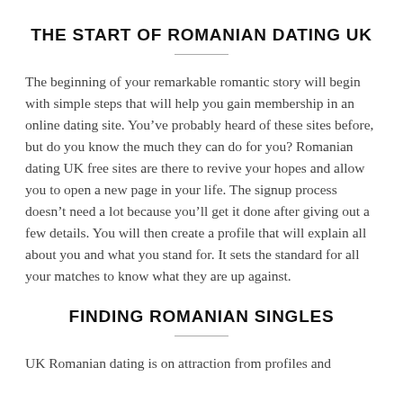THE START OF ROMANIAN DATING UK
The beginning of your remarkable romantic story will begin with simple steps that will help you gain membership in an online dating site. You’ve probably heard of these sites before, but do you know the much they can do for you? Romanian dating UK free sites are there to revive your hopes and allow you to open a new page in your life. The signup process doesn’t need a lot because you’ll get it done after giving out a few details. You will then create a profile that will explain all about you and what you stand for. It sets the standard for all your matches to know what they are up against.
FINDING ROMANIAN SINGLES
UK Romanian dating is on attraction from profiles and